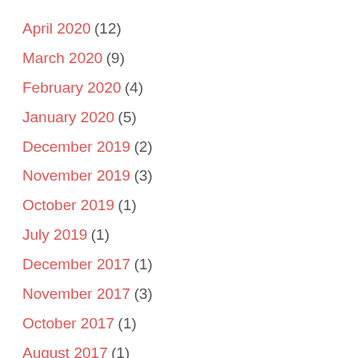April 2020 (12)
March 2020 (9)
February 2020 (4)
January 2020 (5)
December 2019 (2)
November 2019 (3)
October 2019 (1)
July 2019 (1)
December 2017 (1)
November 2017 (3)
October 2017 (1)
August 2017 (1)
June 2017 (1)
March 2017 (1)